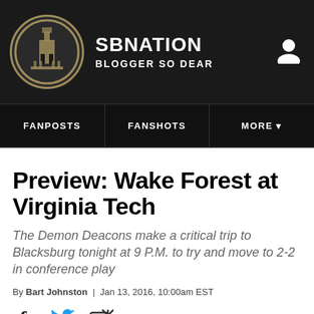SB NATION — BLOGGER SO DEAR
FANPOSTS | FANSHOTS | MORE
Preview: Wake Forest at Virginia Tech
The Demon Deacons make a critical trip to Blacksburg tonight at 9 P.M. to try and move to 2-2 in conference play
By Bart Johnston | Jan 13, 2016, 10:00am EST
SHARE